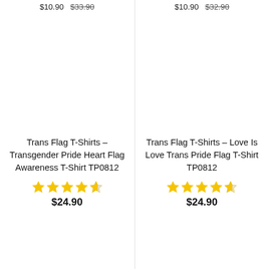$10.90  $33.90
$10.90  $32.90
[Figure (photo): Product image area for Trans Flag T-Shirts Transgender Pride Heart Flag Awareness T-Shirt TP0812]
Trans Flag T-Shirts – Transgender Pride Heart Flag Awareness T-Shirt TP0812
[Figure (other): 4.5 star rating (yellow stars)]
$24.90
[Figure (photo): Product image area for Trans Flag T-Shirts Love Is Love Trans Pride Flag T-Shirt TP0812]
Trans Flag T-Shirts – Love Is Love Trans Pride Flag T-Shirt TP0812
[Figure (other): 4.5 star rating (yellow stars)]
$24.90